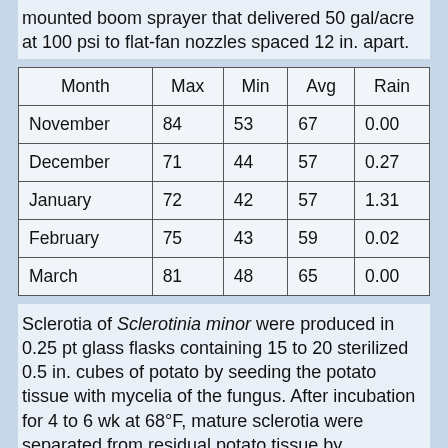mounted boom sprayer that delivered 50 gal/acre at 100 psi to flat-fan nozzles spaced 12 in. apart.
| Month | Max | Min | Avg | Rain |
| --- | --- | --- | --- | --- |
| November | 84 | 53 | 67 | 0.00 |
| December | 71 | 44 | 57 | 0.27 |
| January | 72 | 42 | 57 | 1.31 |
| February | 75 | 43 | 59 | 0.02 |
| March | 81 | 48 | 65 | 0.00 |
Sclerotia of Sclerotinia minor were produced in 0.25 pt glass flasks containing 15 to 20 sterilized 0.5 in. cubes of potato by seeding the potato tissue with mycelia of the fungus. After incubation for 4 to 6 wk at 68°F, mature sclerotia were separated from residual potato tissue by